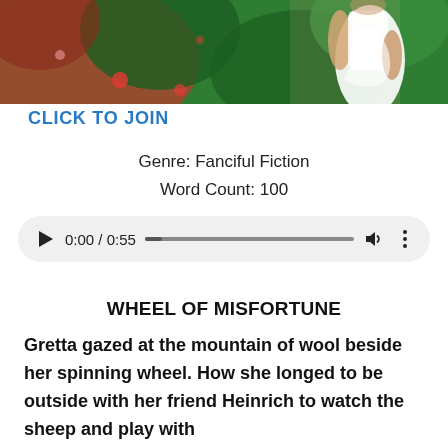[Figure (photo): Colorful photo showing a woman in a white dress with a blurred background of red and green foliage. Only the lower torso and arms visible at top.]
CLICK TO JOIN
Genre: Fanciful Fiction
Word Count: 100
[Figure (other): Audio player showing 0:00 / 0:55 with play button, progress bar, volume icon, and more options icon.]
WHEEL OF MISFORTUNE
Gretta gazed at the mountain of wool beside her spinning wheel. How she longed to be outside with her friend Heinrich to watch the sheep and play with